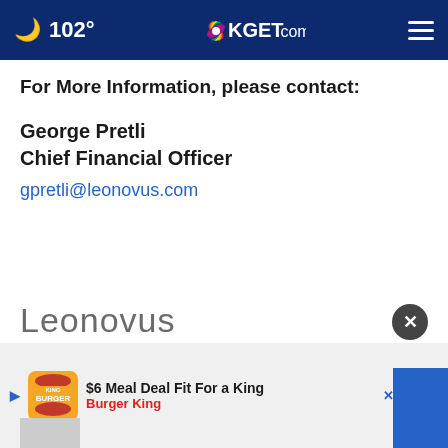102° KGET.com
For More Information, please contact:
George Pretli
Chief Financial Officer
gpretli@leonovus.com
[Figure (logo): Leonovus company logo in gray sans-serif font]
[Figure (screenshot): Burger King advertisement banner: $6 Meal Deal Fit For a King, Burger King, with navigation arrow icon]